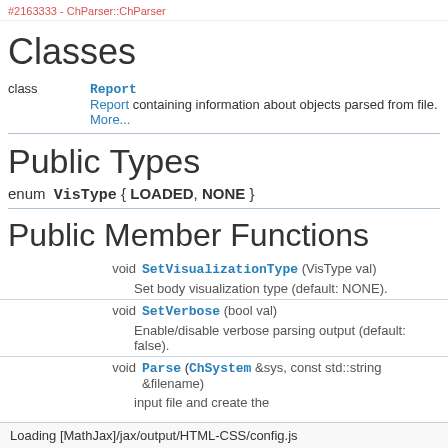#2163333 - ChParser::ChParser
Classes
| type | name | description |
| --- | --- | --- |
| class | Report | Report containing information about objects parsed from file. More... |
Public Types
enum  VisType { LOADED, NONE }
Public Member Functions
| return | signature | description |
| --- | --- | --- |
| void | SetVisualizationType (VisType val) | Set body visualization type (default: NONE). |
| void | SetVerbose (bool val) | Enable/disable verbose parsing output (default: false). |
| void | Parse (ChSystem &sys, const std::string &filename) | input file and create the |
Loading [MathJax]/jax/output/HTML-CSS/config.js